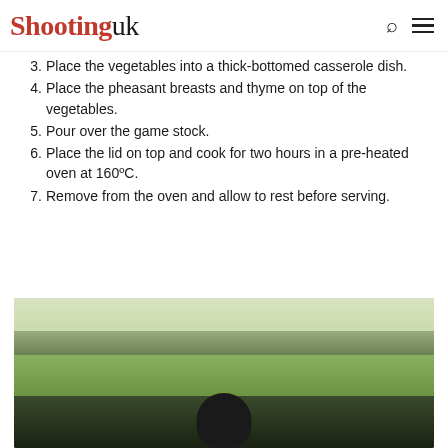Shooting uk
3. Place the vegetables into a thick-bottomed casserole dish.
4. Place the pheasant breasts and thyme on top of the vegetables.
5. Pour over the game stock.
6. Place the lid on top and cook for two hours in a pre-heated oven at 160ºC.
7. Remove from the oven and allow to rest before serving.
[Figure (photo): A black Labrador dog sitting in a green field with trees in the background, outdoors in natural daylight.]